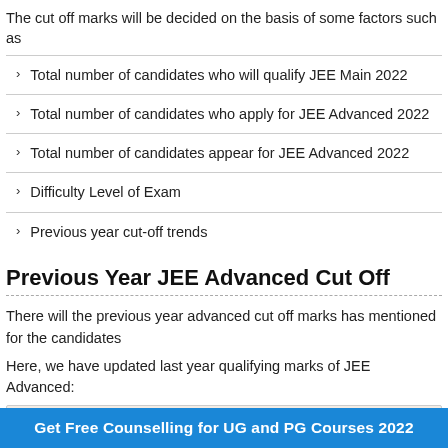The cut off marks will be decided on the basis of some factors such as
Total number of candidates who will qualify JEE Main 2022
Total number of candidates who apply for JEE Advanced 2022
Total number of candidates appear for JEE Advanced 2022
Difficulty Level of Exam
Previous year cut-off trends
Previous Year JEE Advanced Cut Off
There will the previous year advanced cut off marks has mentioned for the candidates
Here, we have updated last year qualifying marks of JEE Advanced:
|  |  |  | Minimum |  |
| --- | --- | --- | --- | --- |
Get Free Counselling for UG and PG Courses 2022